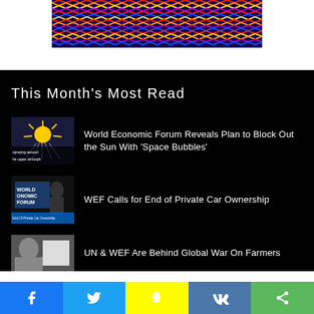[Figure (illustration): Colorful psychedelic optical illusion pattern with red, yellow, blue, and purple zigzag wave pattern at top of page]
This Month's Most Read
[Figure (photo): Thumbnail image showing aerosol spraying and upper atmosphere text overlay with sun graphic]
World Economic Forum Reveals Plan to Block Out the Sun With 'Space Bubbles'
[Figure (photo): Thumbnail image showing World Economic Forum sign with person silhouetted, End Of Private Car Ownership text]
WEF Calls for End of Private Car Ownership
[Figure (photo): Thumbnail image showing a person's face, partial view]
UN & WEF Are Behind Global War On Farmers
Social sharing bar: Facebook, Twitter, Snapchat, VK, Share